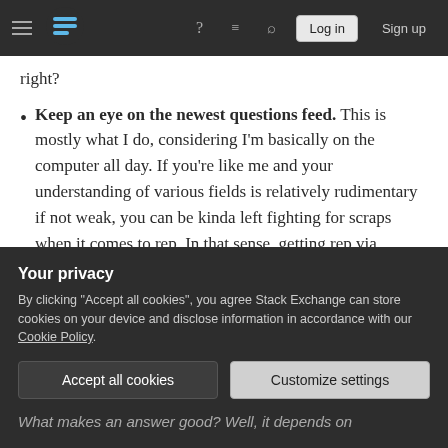Stack Exchange navigation bar with hamburger menu, logo, help, chat, search icons, Log in and Sign up buttons
right?
Keep an eye on the newest questions feed. This is mostly what I do, considering I'm basically on the computer all day. If you're like me and your understanding of various fields is relatively rudimentary if not weak, you can be kinda left fighting for scraps when it comes to rep. In that sense, getting rep via answers honestly will require a trigger finger, metaphorically speaking. (Just be sure to double-check your solution and be confident in your answer. Do not be quick for the sake of being
Your privacy
By clicking "Accept all cookies", you agree Stack Exchange can store cookies on your device and disclose information in accordance with our Cookie Policy.
Accept all cookies
Customize settings
What makes an answer good? Well, it depends on